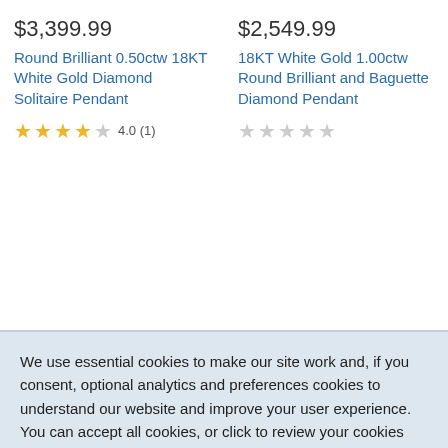$3,399.99
Round Brilliant 0.50ctw 18KT White Gold Diamond Solitaire Pendant
4.0 (1)
$2,549.99
18KT White Gold 1.00ctw Round Brilliant and Baguette Diamond Pendant
[Figure (screenshot): Cookie consent overlay banner with two buttons: 'Accept All' (blue) and 'Review' (light gray). Text reads: 'We use essential cookies to make our site work and, if you consent, optional analytics and preferences cookies to understand our website and improve your user experience. You can accept all cookies, or click to review your cookies preference.']